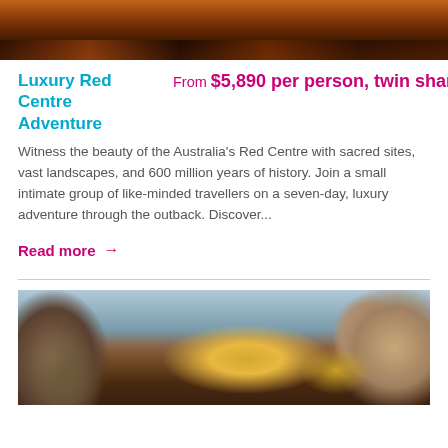[Figure (photo): Top portion of a landscape photo showing red outback terrain with dark rocky/earthy striations]
Luxury Red Centre Adventure
From $5,890 per person, twin share
Witness the beauty of the Australia's Red Centre with sacred sites, vast landscapes, and 600 million years of history. Join a small intimate group of like-minded travellers on a seven-day, luxury adventure through the outback. Discover...
Read more →
[Figure (photo): Bottom photo showing a camel's face on the left, a yellow handlebar in the middle, and a young woman with hair up on the right, likely on a camel ride experience]